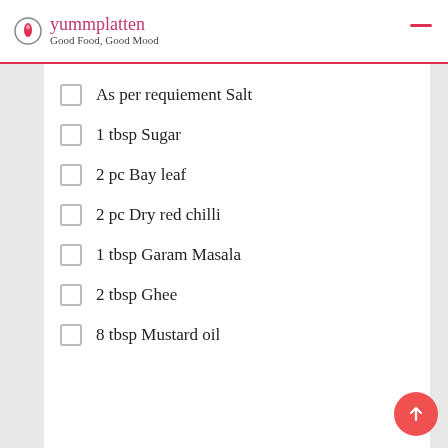yummplatten — Good Food, Good Mood
As per requiement Salt
1 tbsp Sugar
2 pc Bay leaf
2 pc Dry red chilli
1 tbsp Garam Masala
2 tbsp Ghee
8 tbsp Mustard oil